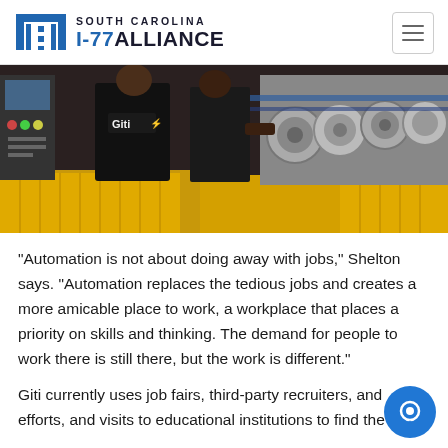SOUTH CAROLINA I-77 ALLIANCE
[Figure (photo): Factory workers in black uniforms with 'Giti' logo on the back, working with industrial machinery. Yellow machinery/equipment in the foreground. Industrial setting with metal components.]
“Automation is not about doing away with jobs,” Shelton says. “Automation replaces the tedious jobs and creates a more amicable place to work, a workplace that places a priority on skills and thinking. The demand for people to work there is still there, but the work is different.”
Giti currently uses job fairs, third-party recruiters, and efforts, and visits to educational institutions to find the